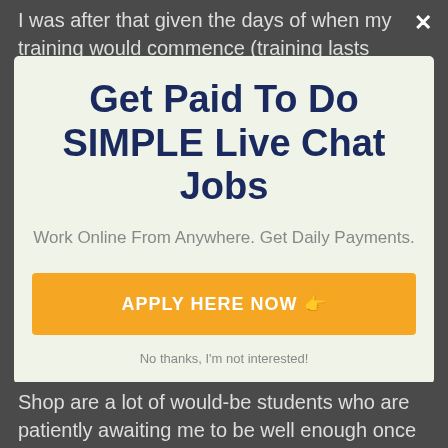I was after that given the days of when my training would commence (training lasts around 3 weeks
Get Paid To Do SIMPLE Live Chat Jobs
Work Online From Anywhere. Get Daily Payments.
APPLY HERE NOW 👉
No thanks, I'm not interested!
Shop are a lot of would-be students who are patiently awaiting me to be well enough once